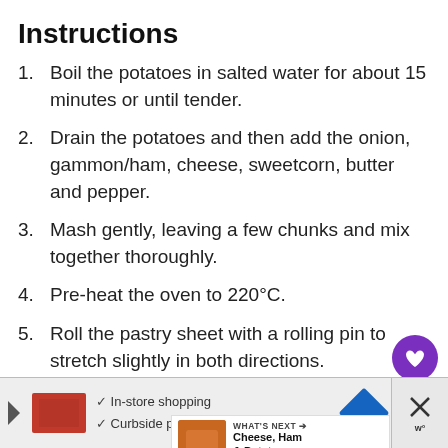Instructions
Boil the potatoes in salted water for about 15 minutes or until tender.
Drain the potatoes and then add the onion, gammon/ham, cheese, sweetcorn, butter and pepper.
Mash gently, leaving a few chunks and mix together thoroughly.
Pre-heat the oven to 220°C.
Roll the pastry sheet with a rolling pin to stretch slightly in both directions.
Cut the sheet into 4 equal rectan…
Divide the mixture between the rectangles